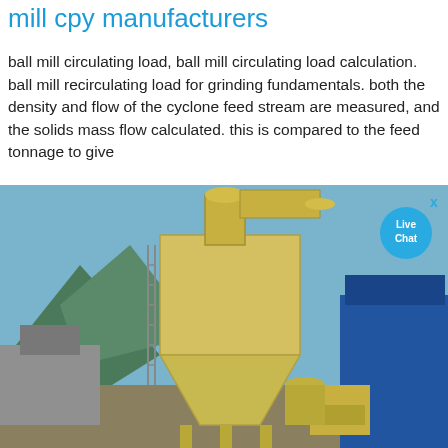mill cpy manufacturers
ball mill circulating load, ball mill circulating load calculation. ball mill recirculating load for grinding fundamentals. both the density and flow of the cyclone feed stream are measured, and the solids mass flow calculated. this is compared to the feed tonnage to give
[Figure (photo): Industrial grinding mill equipment — a large yellow hopper/cyclone separator structure on legs at an outdoor industrial site, with mountains in background. A 'Live Chat' button overlay appears in the top right corner.]
calculate sag/ball mill circulating load